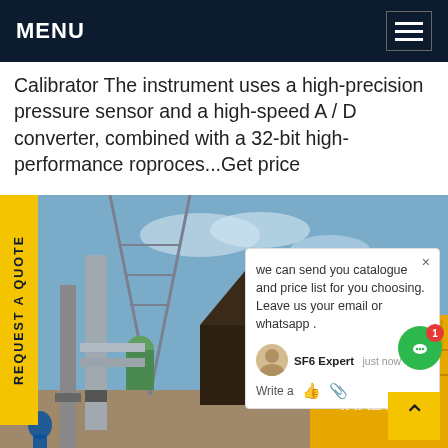MENU
Calibrator The instrument uses a high-precision pressure sensor and a high-speed A / D converter, combined with a 32-bit high-performance roproces...Get price
[Figure (photo): Industrial electrical substation with high-voltage equipment, transmission towers, and yellow industrial vehicle/container in background.]
REQUEST A QUOTE
we can send you catalogue and price list for you choosing. Leave us your email or whatsapp .
SF6 Expert   just now
Write a